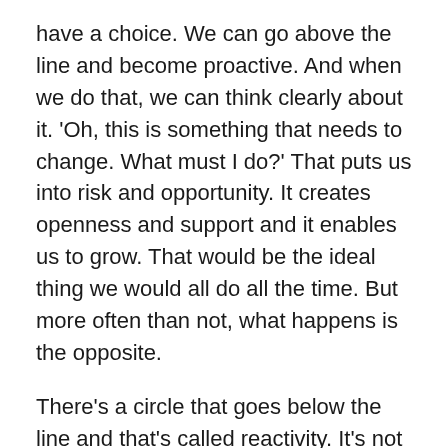have a choice. We can go above the line and become proactive. And when we do that, we can think clearly about it. 'Oh, this is something that needs to change. What must I do?' That puts us into risk and opportunity. It creates openness and support and it enables us to grow. That would be the ideal thing we would all do all the time. But more often than not, what happens is the opposite.
There's a circle that goes below the line and that's called reactivity. It's not responding, it's reacting. And then we're caught up in our 'safety and maintenance' and the first thing that we do is feel threatened - and we defend - and we attack - and we avoid - and we resist - and we blame other people. And we think we're right and everybody else is wrong! It's what we call the victim mode.